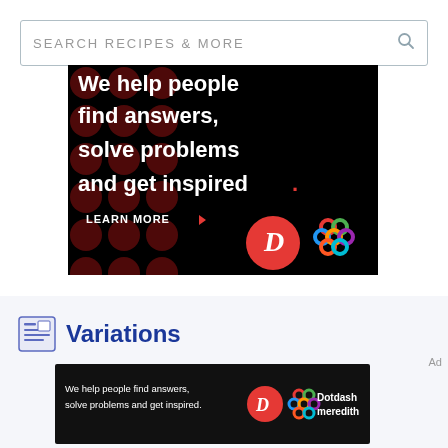[Figure (screenshot): Search bar with text SEARCH RECIPES & MORE and a search icon on the right]
[Figure (photo): Advertisement banner on black background with dark red polka dots. Text reads: We help people find answers, solve problems and get inspired. LEARN MORE with red arrow. Shows Dotdash D logo in red circle and colorful lattice Meredith logo.]
Variations
Ad
[Figure (photo): Small ad banner: We help people find answers, solve problems and get inspired. With D logo and Dotdash meredith logo and text.]